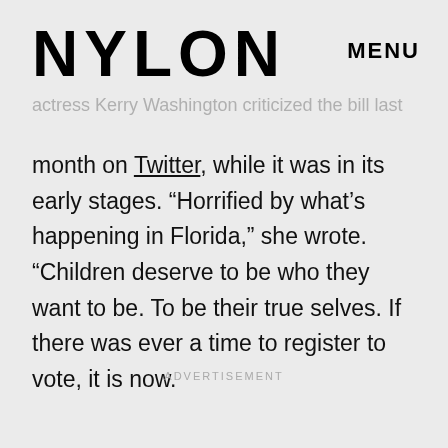NYLON  MENU
actress Kerry Washington criticized the bill last month on Twitter, while it was in its early stages. “Horrified by what’s happening in Florida,” she wrote. “Children deserve to be who they want to be. To be their true selves. If there was ever a time to register to vote, it is now.
ADVERTISEMENT